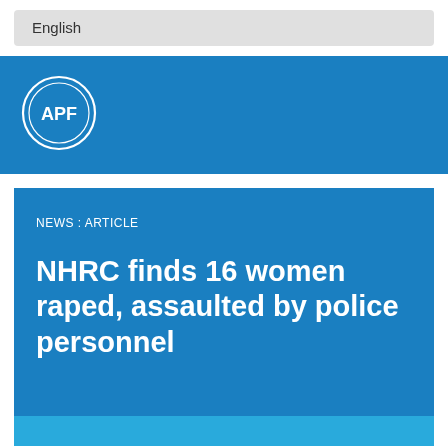English
[Figure (logo): APF logo — white circle with APF text on blue background]
NEWS : ARTICLE
NHRC finds 16 women raped, assaulted by police personnel